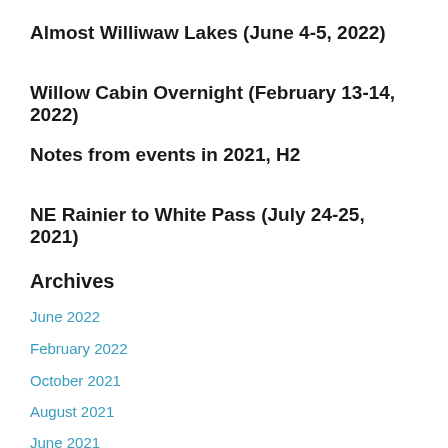Almost Williwaw Lakes (June 4-5, 2022)
Willow Cabin Overnight (February 13-14, 2022)
Notes from events in 2021, H2
NE Rainier to White Pass (July 24-25, 2021)
Archives
June 2022
February 2022
October 2021
August 2021
June 2021
April 2021